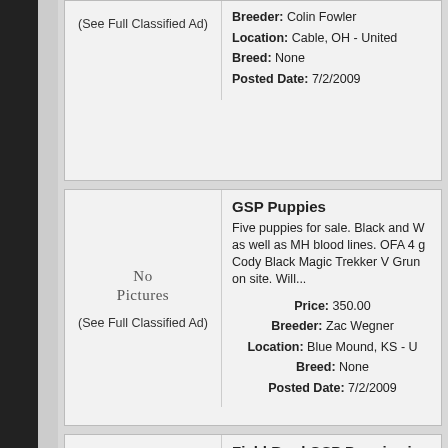(See Full Classified Ad)
Breeder: Colin Fowler
Location: Cable, OH - United
Breed: None
Posted Date: 7/2/2009
GSP Puppies
[Figure (other): No Pictures placeholder]
Five puppies for sale. Black and W as well as MH blood lines. OFA 4 g Cody Black Magic Trekker V Grun on site. Will...
(See Full Classified Ad)
Price: 350.00
Breeder: Zac Wegner
Location: Blue Mound, KS - U
Breed: None
Posted Date: 7/2/2009
Field Bred GSP Puppies in TEXA
[Figure (other): No Pictures placeholder]
Puppies Just Arrived: June 21, 200 of Top Field Bred Lines such as: N Heide's MIgnty City Slicker, NFC/F Dixieland's Rusty. Sire: BDK ...